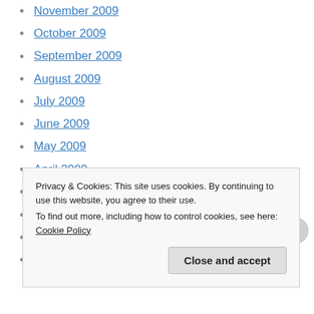November 2009
October 2009
September 2009
August 2009
July 2009
June 2009
May 2009
April 2009
March 2009
February 2009
January 2009
December 2008
Privacy & Cookies: This site uses cookies. By continuing to use this website, you agree to their use. To find out more, including how to control cookies, see here: Cookie Policy
Close and accept